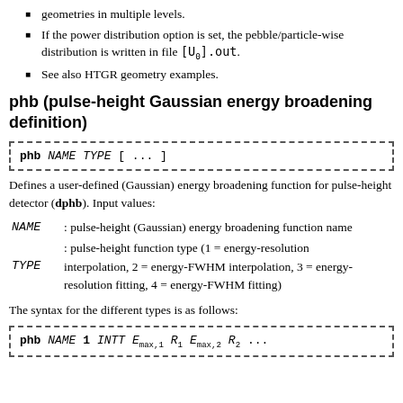geometries in multiple levels.
If the power distribution option is set, the pebble/particle-wise distribution is written in file [U₀].out.
See also HTGR geometry examples.
phb (pulse-height Gaussian energy broadening definition)
phb NAME TYPE [ ... ]
Defines a user-defined (Gaussian) energy broadening function for pulse-height detector (dphb). Input values:
NAME : pulse-height (Gaussian) energy broadening function name
TYPE : pulse-height function type (1 = energy-resolution interpolation, 2 = energy-FWHM interpolation, 3 = energy-resolution fitting, 4 = energy-FWHM fitting)
The syntax for the different types is as follows:
phb NAME 1 INTT E_max,1 R_1 E_max,2 R_2 ...